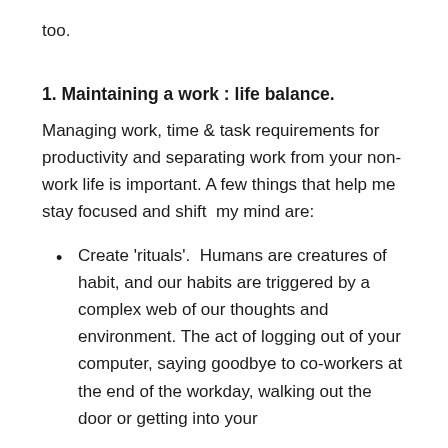too.
1. Maintaining a work : life balance.
Managing work, time & task requirements for productivity and separating work from your non-work life is important. A few things that help me stay focused and shift  my mind are:
Create 'rituals'.  Humans are creatures of habit, and our habits are triggered by a complex web of our thoughts and environment. The act of logging out of your computer, saying goodbye to co-workers at the end of the workday, walking out the door or getting into your